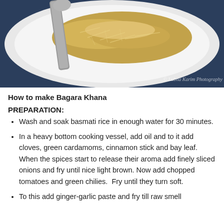[Figure (photo): Overhead photo of a white plate with basmati rice (Bagara Khana) and a spoon, on a dark blue background. Watermark reads '© Lubna Karim Photography'.]
How to make Bagara Khana
PREPARATION:
Wash and soak basmati rice in enough water for 30 minutes.
In a heavy bottom cooking vessel, add oil and to it add cloves, green cardamoms, cinnamon stick and bay leaf. When the spices start to release their aroma add finely sliced onions and fry until nice light brown. Now add chopped tomatoes and green chilies.  Fry until they turn soft.
To this add ginger-garlic paste and fry till raw smell